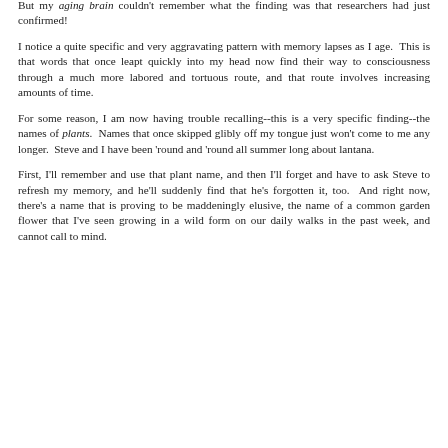But my aging brain couldn't remember what the finding was that researchers had just confirmed!
I notice a quite specific and very aggravating pattern with memory lapses as I age.  This is that words that once leapt quickly into my head now find their way to consciousness through a much more labored and tortuous route, and that route involves increasing amounts of time.
For some reason, I am now having trouble recalling--this is a very specific finding--the names of plants.  Names that once skipped glibly off my tongue just won't come to me any longer.  Steve and I have been 'round and 'round all summer long about lantana.
First, I'll remember and use that plant name, and then I'll forget and have to ask Steve to refresh my memory, and he'll suddenly find that he's forgotten it, too.  And right now, there's a name that is proving to be maddeningly elusive, the name of a common garden flower that I've seen growing in a wild form on our daily walks in the past week, and cannot call to mind.